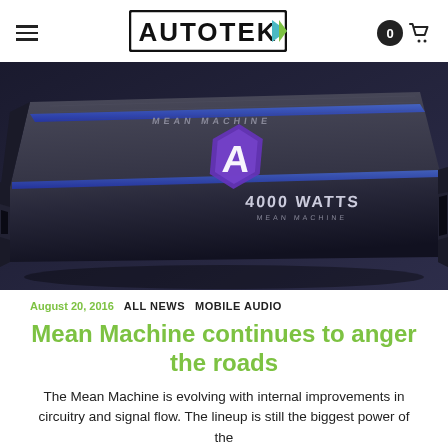AUTOTEK
[Figure (photo): A black car amplifier with blue accent lights, Autotek logo, and '4000 WATTS MEAN MACHINE' text on the top panel, photographed at an angle on a white background.]
August 20, 2016   ALL NEWS   MOBILE AUDIO
Mean Machine continues to anger the roads
The Mean Machine is evolving with internal improvements in circuitry and signal flow. The lineup is still the biggest power of the